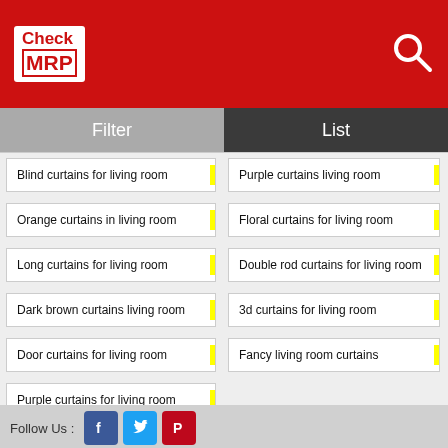[Figure (logo): Check MRP logo in white box on red header background]
Filter | List
Blind curtains for living room
Purple curtains living room
Orange curtains in living room
Floral curtains for living room
Long curtains for living room
Double rod curtains for living room
Dark brown curtains living room
3d curtains for living room
Door curtains for living room
Fancy living room curtains
Purple curtains for living room
Go To Main Page
Main » Home » Living room curtains valances »
Follow Us :